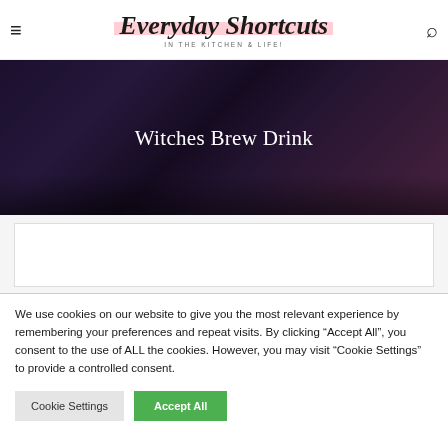Everyday Shortcuts — IN THE KITCHEN & LIFE!
[Figure (photo): Dark moody photo background of a witches brew drink with purple and dark tones, with overlay text 'Witches Brew Drink']
Witches Brew Drink
We use cookies on our website to give you the most relevant experience by remembering your preferences and repeat visits. By clicking “Accept All”, you consent to the use of ALL the cookies. However, you may visit “Cookie Settings” to provide a controlled consent.
Cookie Settings | Accept All